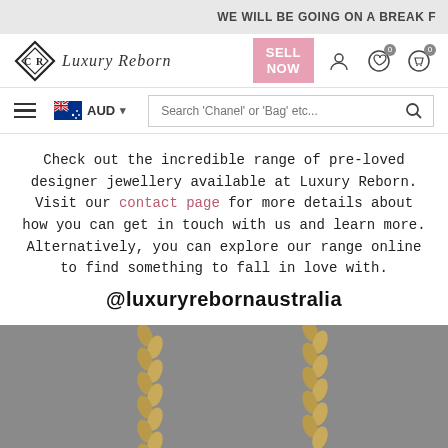WE WILL BE GOING ON A BREAK F
[Figure (logo): Luxury Reborn logo with diamond CR monogram and cursive brand name]
SELL NOW button, user account icon, wishlist icon (0), cart icon (0)
Hamburger menu, Australian flag AUD currency selector, Search 'Chanel' or 'Bag' etc... search bar
Check out the incredible range of pre-loved designer jewellery available at Luxury Reborn. Visit our contact page for more details about how you can get in touch with us and learn more. Alternatively, you can explore our range online to find something to fall in love with.
@luxuryrebornaustralia
[Figure (photo): Black Chanel quilted bag with gold chain straps against grey background]
SELL WITH US